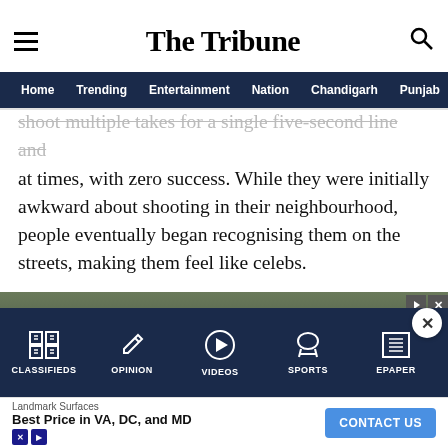The Tribune
Home | Trending | Entertainment | Nation | Chandigarh | Punjab
shoot multiple takes for a single five-second line and at times, with zero success. While they were initially awkward about shooting in their neighbourhood, people eventually began recognising them on the streets, making them feel like celebs.
Ritu Singh, a student of MA Hindi, says, “I hope it inspires girls to come out of the house, fight societal constraints and achieve their potential. This is just the first step. The film is yet to come.”
[Figure (screenshot): Mobile app bottom navigation bar with Classifieds, Opinion, Videos, Sports, Epaper icons on dark navy background. Ad banner showing Landmark Surfaces with CONTACT US button.]